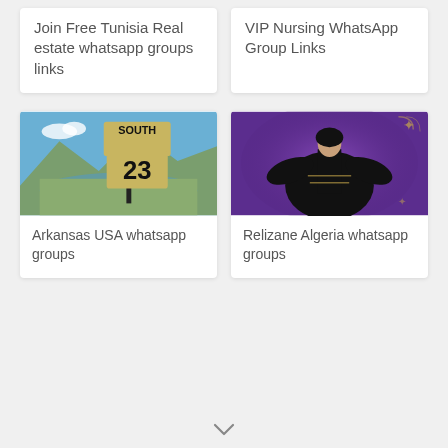Join Free Tunisia Real estate whatsapp groups links
VIP Nursing WhatsApp Group Links
[Figure (photo): Aerial landscape photo of a town near a lake with mountains in background and a South 23 road sign in foreground]
Arkansas USA whatsapp groups
[Figure (photo): Woman wearing traditional Algerian black dress with gold embroidery on a purple background]
Relizane Algeria whatsapp groups